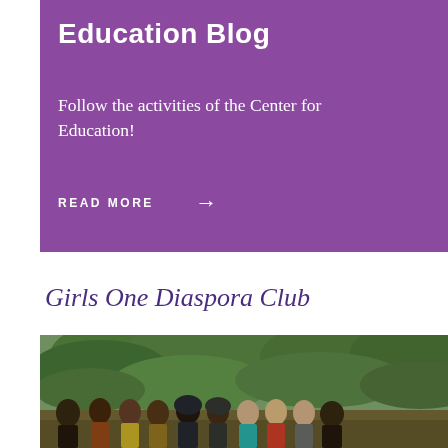Education Blog
Follow the activities of the Center for Education!
READ MORE →
Girls One Diaspora Club
[Figure (photo): Group photo of diverse women and girls standing outdoors in a garden setting with green trees and foliage in the background]